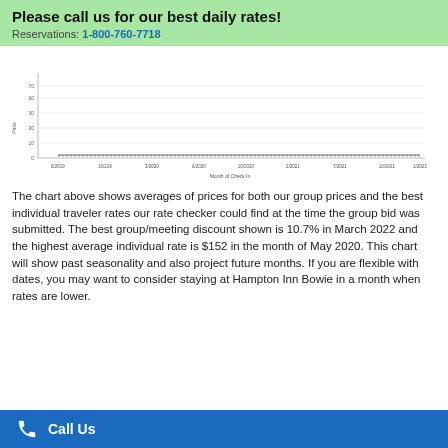Please call us for our best daily rates!
Reservations: 1-800-760-7718
[Figure (continuous-plot): A line chart showing average prices over months of check-in from around 6/2019 to 1/2021. X-axis labeled 'Month of Check In', Y-axis appears to show price values from 0 to 70+. Two lines represent group prices and best individual traveler rates.]
The chart above shows averages of prices for both our group prices and the best individual traveler rates our rate checker could find at the time the group bid was submitted. The best group/meeting discount shown is 10.7% in March 2022 and the highest average individual rate is $152 in the month of May 2020. This chart will show past seasonality and also project future months. If you are flexible with dates, you may want to consider staying at Hampton Inn Bowie in a month when rates are lower.
Call Us